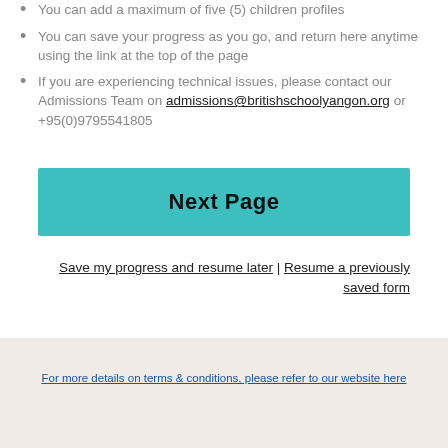You can add a maximum of five (5) children profiles
You can save your progress as you go, and return here anytime using the link at the top of the page
If you are experiencing technical issues, please contact our Admissions Team on admissions@britishschoolyangon.org or +95(0)9795541805
Next Page
Save my progress and resume later | Resume a previously saved form
For more details on terms & conditions, please refer to our website here